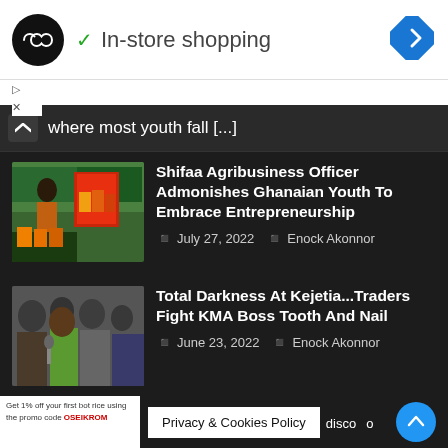[Figure (other): Ad banner: black circular logo with infinity-like symbol, green checkmark, text 'In-store shopping', blue diamond navigation icon on right]
where most youth fall [...]
[Figure (photo): Photo of woman in hijab at agricultural products display booth with colorful packages]
Shifaa Agribusiness Officer Admonishes Ghanaian Youth To Embrace Entrepreneurship
July 27, 2022   Enock Akonnor
[Figure (photo): Photo of group of people, man in foreground at what appears to be a market or public event]
Total Darkness At Kejetia...Traders Fight KMA Boss Tooth And Nail
June 23, 2022   Enock Akonnor
Get 1% off your first bot rice using the promo code OSEIKROM
Privacy & Cookies Policy
disco...o